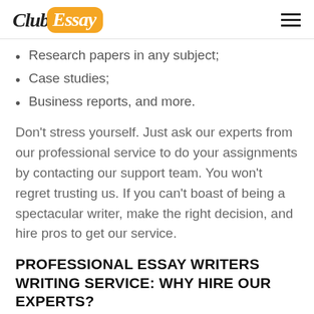Club Essay
Research papers in any subject;
Case studies;
Business reports, and more.
Don't stress yourself. Just ask our experts from our professional service to do your assignments by contacting our support team. You won't regret trusting us. If you can't boast of being a spectacular writer, make the right decision, and hire pros to get our service.
PROFESSIONAL ESSAY WRITERS WRITING SERVICE: WHY HIRE OUR EXPERTS?
There are many reasons to get help with your essay from our talented experts. The most